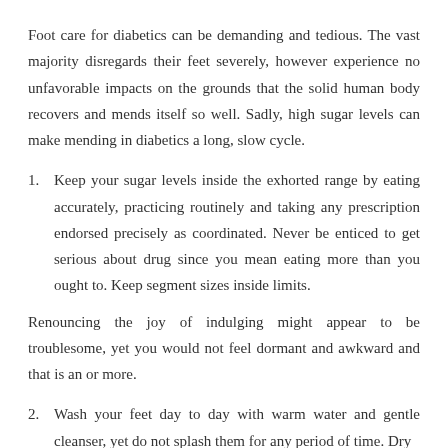Foot care for diabetics can be demanding and tedious. The vast majority disregards their feet severely, however experience no unfavorable impacts on the grounds that the solid human body recovers and mends itself so well. Sadly, high sugar levels can make mending in diabetics a long, slow cycle.
1. Keep your sugar levels inside the exhorted range by eating accurately, practicing routinely and taking any prescription endorsed precisely as coordinated. Never be enticed to get serious about drug since you mean eating more than you ought to. Keep segment sizes inside limits.
Renouncing the joy of indulging might appear to be troublesome, yet you would not feel dormant and awkward and that is an or more.
2. Wash your feet day to day with warm water and gentle cleanser, yet do not splash them for any period of time. Dry